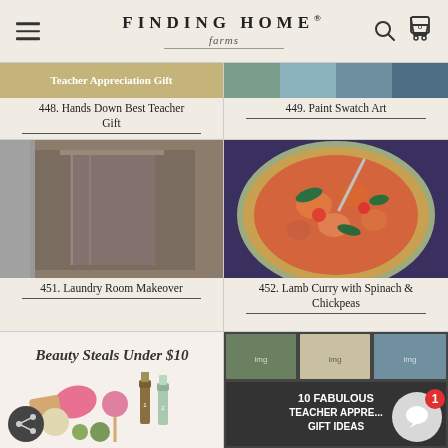FINDING HOME farms
[Figure (screenshot): Partial image of teacher appreciation gift]
448. Hands Down Best Teacher Gift
[Figure (screenshot): Partial image of paint swatch art]
449. Paint Swatch Art
[Figure (photo): Laundry room with large wrapped appliance in brick-walled room]
451. Laundry Room Makeover
[Figure (photo): Bowl of lamb curry with spinach and chickpeas]
452. Lamb Curry with Spinach & Chickpeas
[Figure (photo): Beauty Steals Under $10 - various beauty products including nail polish and soap]
[Figure (photo): 10 Fabulous Teacher Appreciation Gift Ideas collage]